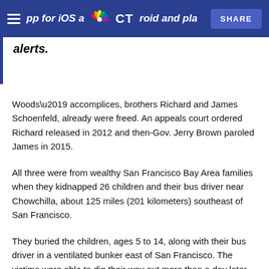app for iOS and Android and place alerts. [NBC CT logo] SHARE
alerts.
Woods’ accomplices, brothers Richard and James Schoenfeld, already were freed. An appeals court ordered Richard released in 2012 and then-Gov. Jerry Brown paroled James in 2015.
All three were from wealthy San Francisco Bay Area families when they kidnapped 26 children and their bus driver near Chowchilla, about 125 miles (201 kilometers) southeast of San Francisco.
They buried the children, ages 5 to 14, along with their bus driver in a ventilated bunker east of San Francisco. The victims were able to dig their way out more than a day later…